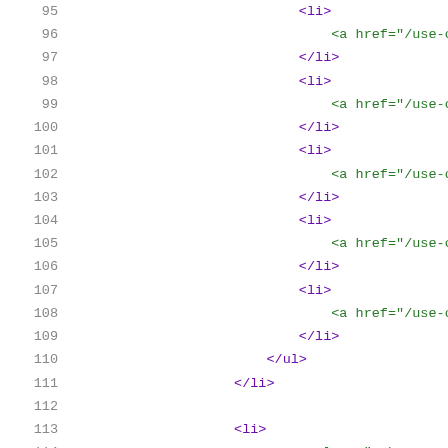95  <li>
96      <a href="/use-cases/high-
97      </li>
98      <li>
99          <a href="/use-cases/digit
100     </li>
101     <li>
102         <a href="/use-cases/spark
103     </li>
104     <li>
105         <a href="/use-cases/hadoo
106     </li>
107     <li>
108         <a href="/use-cases.html"
109     </li>
110   </ul>
111   </li>
112
113     <li>
114       <span class="mobmenu__parent"
115     <ul>
116       <li>